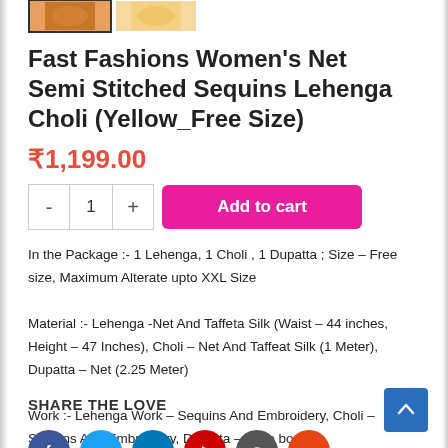[Figure (photo): Product thumbnail images strip at top showing orange/red garment and yellow garment]
Fast Fashions Women's Net Semi Stitched Sequins Lehenga Choli (Yellow_Free Size)
₹1,199.00
- 1 + Add to cart
In the Package :- 1 Lehenga, 1 Choli , 1 Dupatta ; Size – Free size, Maximum Alterate upto XXL Size
Material :- Lehenga -Net And Taffeta Silk (Waist – 44 inches, Height – 47 Inches), Choli – Net And Taffeat Silk (1 Meter), Dupatta – Net (2.25 Meter)
Work :- Lehenga Work – Sequins And Embroidery, Choli – Sequins And Embroidery, Dupatta – Lace border
SHARE THE LOVE
[Figure (illustration): Social media share icons: Facebook (blue), Twitter (light blue), LinkedIn (dark blue), YouTube (red), another icon (dark grey), another icon (orange-red)]